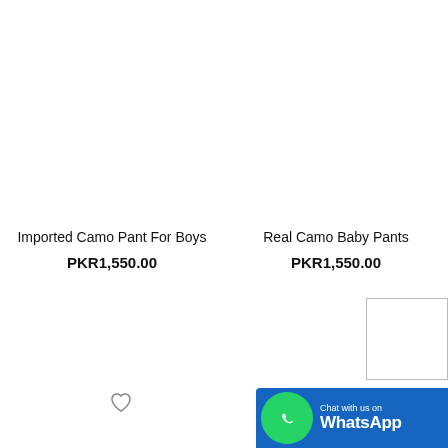Imported Camo Pant For Boys
PKR1,550.00
Real Camo Baby Pants
PKR1,550.00
[Figure (other): WhatsApp Chat with us banner with green phone icon]
[Figure (other): Small product thumbnail box outline]